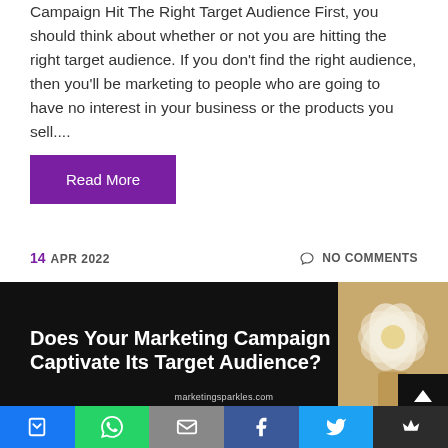Campaign Hit The Right Target Audience First, you should think about whether or not you are hitting the right target audience. If you don't find the right audience, then you'll be marketing to people who are going to have no interest in your business or the products you sell....
Read More
14 APR 2022   NO COMMENTS
[Figure (infographic): Blog article thumbnail image with text 'Does Your Marketing Campaign Captivate Its Target Audience?' on black background with floral decoration, marketingsparkles.com watermark]
Social sharing bar with buttons: GetPocket, WhatsApp, Email, Facebook, Twitter, and another share button